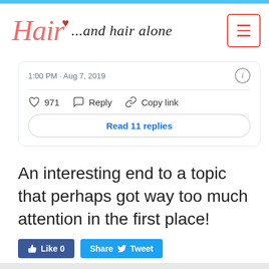Hair ...and hair alone
1:00 PM · Aug 7, 2019
971  Reply  Copy link
Read 11 replies
An interesting end to a topic that perhaps got way too much attention in the first place!
Like 0  Share  Tweet